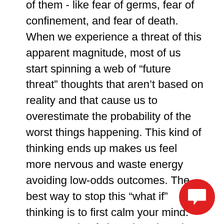of them - like fear of germs, fear of confinement, and fear of death. When we experience a threat of this apparent magnitude, most of us start spinning a web of “future threat” thoughts that aren’t based on reality and that cause us to overestimate the probability of the worst things happening. This kind of thinking ends up makes us feel more nervous and waste energy avoiding low-odds outcomes. The best way to stop this “what if” thinking is to first calm your mind. Try a couple of slow, deep breaths; or some muscle tensing/relaxing; or saying “Stop!” – whatever works for you. Better yet, write your biggest future threat fears down. Seeing your worst case thoughts on paper can  take the sting out of them. Then as your head clears, ask yourself a simple question: “What’s most likely to happen, and what’s one thing I can do right now to address it?”  Taking action on a probable
[Figure (other): Red circular chat/support button with white speech bubble icon, positioned in bottom-right corner]